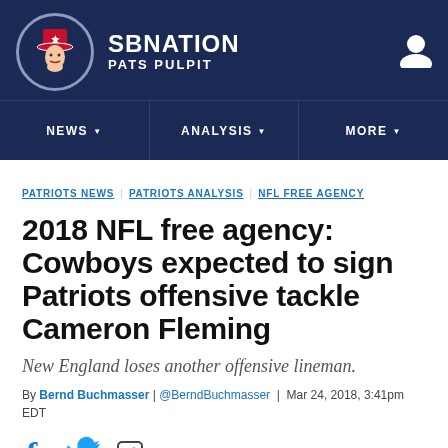SB NATION / PATS PULPIT
[Figure (logo): SB Nation Pats Pulpit circular logo with patriot mascot]
NEWS | ANALYSIS | MORE
PATRIOTS NEWS  PATRIOTS ANALYSIS  NFL FREE AGENCY
2018 NFL free agency: Cowboys expected to sign Patriots offensive tackle Cameron Fleming
New England loses another offensive lineman.
By Bernd Buchmasser | @BerndBuchmasser | Mar 24, 2018, 3:41pm EDT
SHARE